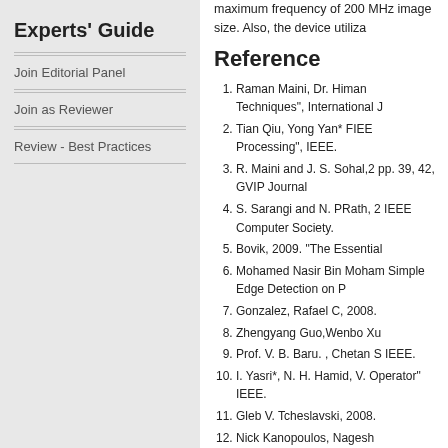Experts' Guide
Join Editorial Panel
Join as Reviewer
Review - Best Practices
maximum frequency of 200 MHz image size. Also, the device utiliza
Reference
1. Raman Maini, Dr. Himan Techniques", International J
2. Tian Qiu, Yong Yan* FIEE Processing", IEEE.
3. R. Maini and J. S. Sohal,2 pp. 39, 42, GVIP Journal
4. S. Sarangi and N. PRath, 2 IEEE Computer Society.
5. Bovik, 2009. "The Essential
6. Mohamed Nasir Bin Moham Simple Edge Detection on P
7. Gonzalez, Rafael C, 2008.
8. Zhengyang Guo,Wenbo Xu
9. Prof. V. B. Baru. , Chetan S IEEE.
10. I. Yasri*, N. H. Hamid, V. Operator" IEEE.
11. Gleb V. Tcheslavski, 2008.
12. Nick Kanopoulos, Nagesh